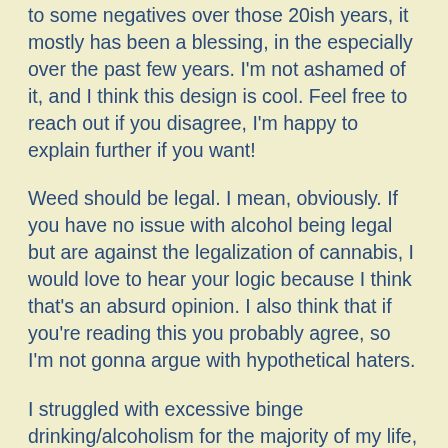to some negatives over those 20ish years, it mostly has been a blessing, in the especially over the past few years. I'm not ashamed of it, and I think this design is cool. Feel free to reach out if you disagree, I'm happy to explain further if you want!
Weed should be legal. I mean, obviously. If you have no issue with alcohol being legal but are against the legalization of cannabis, I would love to hear your logic because I think that's an absurd opinion. I also think that if you're reading this you probably agree, so I'm not gonna argue with hypothetical haters.
[Figure (illustration): Small circular avatar/profile picture with a yellow-green glowing border, showing a cartoon or illustrated face/character]
I struggled with excessive binge drinking/alcoholism for the majority of my life, and without weed I'd probably be dead or in this is personal to me and again, I think it's a cool de ne fact that there are 40,000 Americans (not surprisingly a disproportionate amount of which are people of